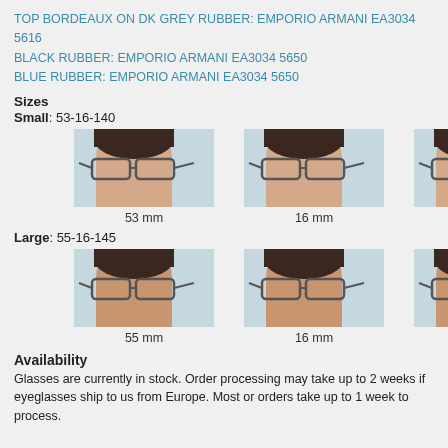TOP BORDEAUX ON DK GREY RUBBER: EMPORIO ARMANI EA3034 5616
BLACK RUBBER: EMPORIO ARMANI EA3034 5650
BLUE RUBBER: EMPORIO ARMANI EA3034 5650
Sizes
Small: 53-16-140
[Figure (photo): Three side-profile photos of a man wearing eyeglasses, showing 53mm, 16mm, and 140mm measurements respectively]
Large: 55-16-145
[Figure (photo): Three side-profile photos of a man wearing eyeglasses, showing 55mm, 16mm, and 145mm measurements respectively]
Availability
Glasses are currently in stock. Order processing may take up to 2 weeks if eyeglasses ship to us from Europe. Most or orders take up to 1 week to process.